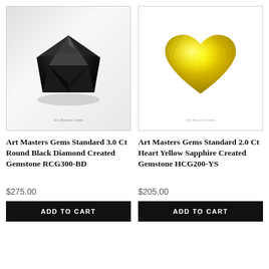[Figure (photo): Black round diamond gemstone on light gray gradient background with 'Art Masters Gems' watermark]
[Figure (photo): Yellow heart-shaped sapphire gemstone on white background with 'Art Masters Gems' watermark]
Art Masters Gems Standard 3.0 Ct Round Black Diamond Created Gemstone RCG300-BD
Art Masters Gems Standard 2.0 Ct Heart Yellow Sapphire Created Gemstone HCG200-YS
$275.00
$205.00
ADD TO CART
ADD TO CART